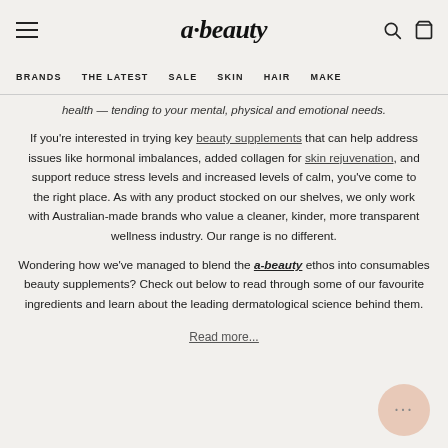a·beauty
BRANDS  THE LATEST  SALE  SKIN  HAIR  MAKE
health — tending to your mental, physical and emotional needs.
If you're interested in trying key beauty supplements that can help address issues like hormonal imbalances, added collagen for skin rejuvenation, and support reduce stress levels and increased levels of calm, you've come to the right place. As with any product stocked on our shelves, we only work with Australian-made brands who value a cleaner, kinder, more transparent wellness industry. Our range is no different.
Wondering how we've managed to blend the a-beauty ethos into consumables beauty supplements? Check out below to read through some of our favourite ingredients and learn about the leading dermatological science behind them.
Read more...